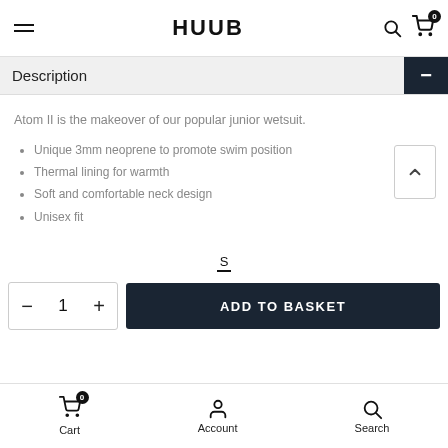HUUB
Description
Atom II is the makeover of our popular junior wetsuit.
Unique 3mm neoprene to promote swim position
Thermal lining for warmth
Soft and comfortable neck design
Unisex fit
S
- 1 + ADD TO BASKET
Cart  Account  Search